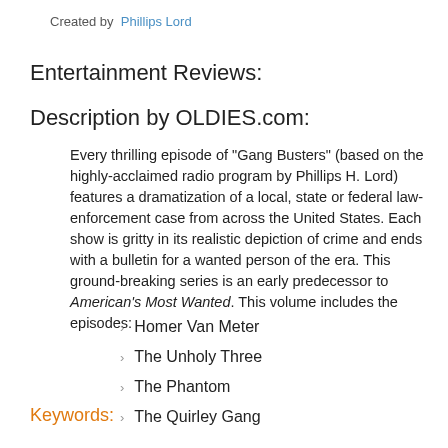Created by  Phillips Lord
Entertainment Reviews:
Description by OLDIES.com:
Every thrilling episode of "Gang Busters" (based on the highly-acclaimed radio program by Phillips H. Lord) features a dramatization of a local, state or federal law-enforcement case from across the United States. Each show is gritty in its realistic depiction of crime and ends with a bulletin for a wanted person of the era. This ground-breaking series is an early predecessor to American's Most Wanted. This volume includes the episodes:
Homer Van Meter
The Unholy Three
The Phantom
The Quirley Gang
Keywords: